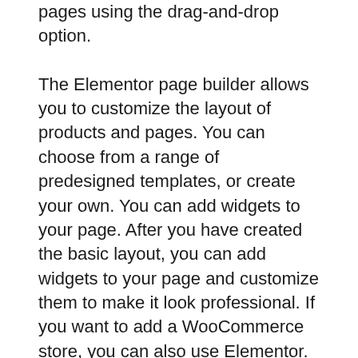pages using the drag-and-drop option.
The Elementor page builder allows you to customize the layout of products and pages. You can choose from a range of predesigned templates, or create your own. You can add widgets to your page. After you have created the basic layout, you can add widgets to your page and customize them to make it look professional. If you want to add a WooCommerce store, you can also use Elementor.
Elementor has many useful features, in addition to customizable layouts. It can be used with almost any theme. In fact, Elementor is designed for responsive websites. You can customize every aspect of